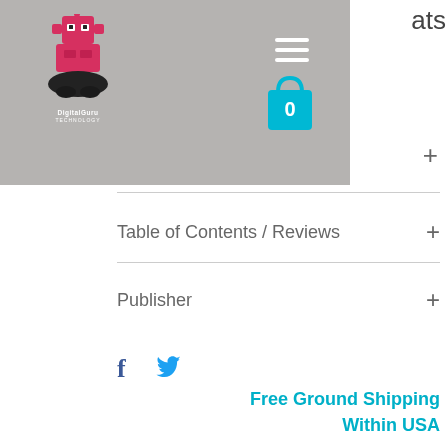[Figure (logo): DigitalGuru technology logo — pixel-art robot/alien figure in pink/red with black oval base, white text 'DigitalGuru' below]
[Figure (screenshot): Navigation header overlay in gray with hamburger menu icon and cyan shopping bag icon showing '0']
ats
+
Table of Contents / Reviews
+
Publisher
+
[Figure (infographic): Facebook and Twitter social share icons]
Free Ground Shipping
Within USA